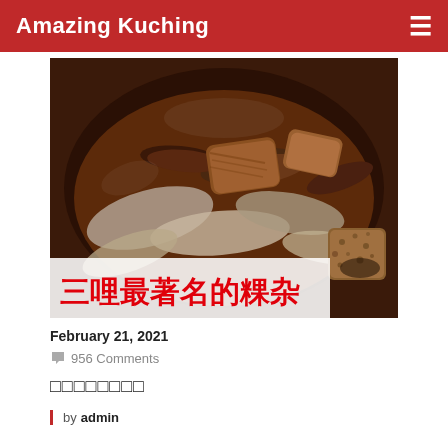Amazing Kuching
[Figure (photo): Bowl of kway chap (粿杂) — flat rice noodles and braised offal in dark soy broth with mushrooms and tofu puffs, served in a white bowl. Chinese characters '三哩最著名的粿杂' overlaid at the bottom of the image in red on a semi-transparent white background.]
February 21, 2021
956 Comments
□□□□□□□□
by admin